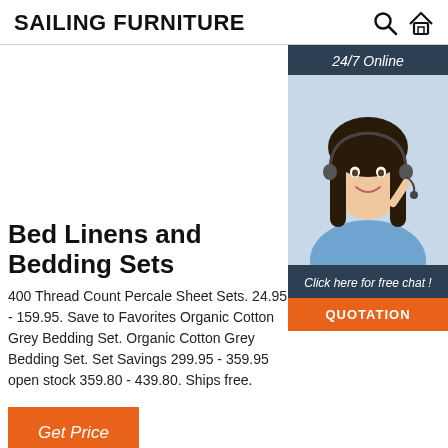SAILING FURNITURE
[Figure (illustration): 24/7 online chat widget with photo of woman wearing headset and buttons for 'Click here for free chat!' and 'QUOTATION']
Bed Linens and Bedding Sets
400 Thread Count Percale Sheet Sets. 24.95 - 159.95. Save to Favorites Organic Cotton Grey Bedding Set. Organic Cotton Grey Bedding Set. Set Savings 299.95 - 359.95 open stock 359.80 - 439.80. Ships free.
Get Price